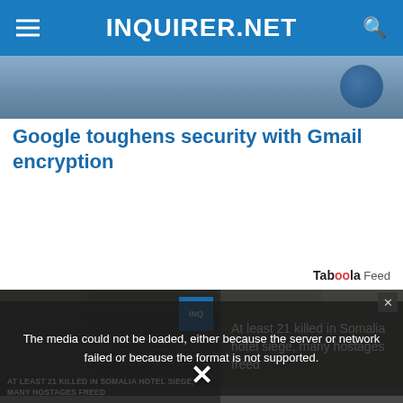INQUIRER.NET
[Figure (photo): Top partial image, blue-tinted scene cropped at top]
Google toughens security with Gmail encryption
Taboola Feed
[Figure (photo): Stack of bundled money/cash bills piled high, black and white photo]
[Figure (screenshot): Video player with error message: The media could not be loaded, either because the server or network failed or because the format is not supported. Overlaid on Somalia hotel siege news panel showing: At least 21 killed in Somalia hotel siege, many hostages freed. AT LEAST 21 KILLED IN SOMALIA HOTEL SIEGE, MANY HOSTAGES FREED]
The media could not be loaded, either because the server or network failed or because the format is not supported.
At least 21 killed in Somalia hotel siege, many hostages freed
AT LEAST 21 KILLED IN SOMALIA HOTEL SIEGE, MANY HOSTAGES FREED